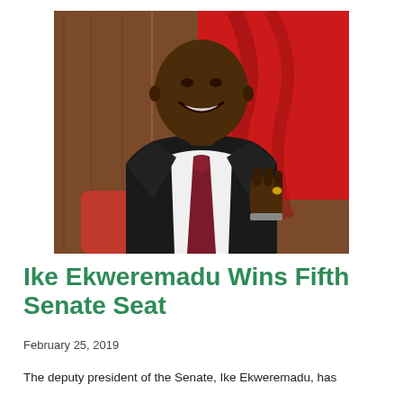[Figure (photo): Photo of Ike Ekweremadu, smiling and seated, wearing a dark suit with a maroon tie, in front of a red leather chair and a red flag background.]
Ike Ekweremadu Wins Fifth Senate Seat
February 25, 2019
The deputy president of the Senate, Ike Ekweremadu, has